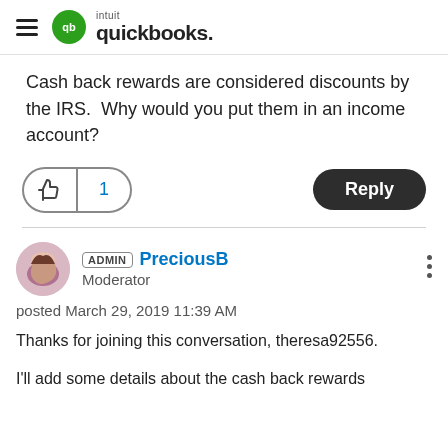intuit quickbooks
Cash back rewards are considered discounts by the IRS.  Why would you put them in an income account?
posted March 29, 2019 11:39 AM
Thanks for joining this conversation, theresa92556.
I'll add some details about the cash back rewards